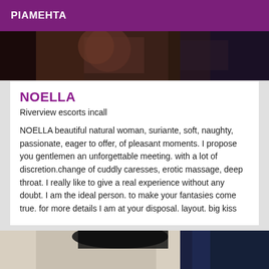PIAMEHTA
[Figure (photo): Partial photo of a person in dark clothing, cropped at top]
NOELLA
Riverview escorts incall
NOELLA beautiful natural woman, suriante, soft, naughty, passionate, eager to offer, of pleasant moments. I propose you gentlemen an unforgettable meeting. with a lot of discretion.change of cuddly caresses, erotic massage, deep throat. I really like to give a real experience without any doubt. I am the ideal person. to make your fantasies come true. for more details I am at your disposal. layout. big kiss
[Figure (photo): Partial photo of a person with dark hair and blue clothing, cropped at bottom]